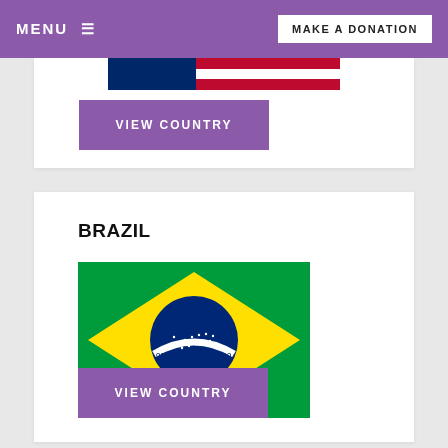MENU  ≡        MAKE A DONATION
[Figure (illustration): Partially visible flag image at top, with a purple VIEW COUNTRY button below it]
BRAZIL
[Figure (illustration): Brazilian flag: green background, yellow diamond, blue circle with white band reading ORDEM E PROGRESSO and white stars]
VIEW COUNTRY